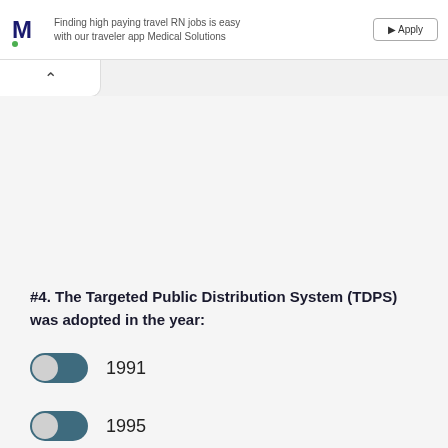Finding high paying travel RN jobs is easy with our traveler app Medical Solutions
#4. The Targeted Public Distribution System (TDPS) was adopted in the year:
1991
1995